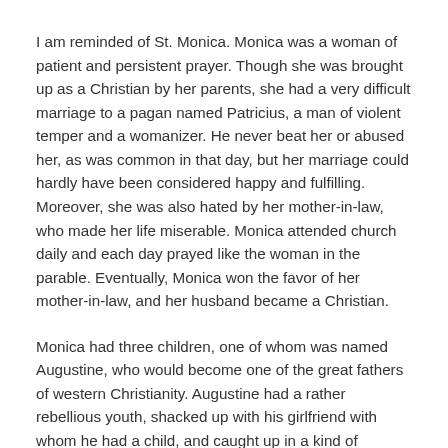I am reminded of St. Monica. Monica was a woman of patient and persistent prayer. Though she was brought up as a Christian by her parents, she had a very difficult marriage to a pagan named Patricius, a man of violent temper and a womanizer. He never beat her or abused her, as was common in that day, but her marriage could hardly have been considered happy and fulfilling. Moreover, she was also hated by her mother-in-law, who made her life miserable. Monica attended church daily and each day prayed like the woman in the parable. Eventually, Monica won the favor of her mother-in-law, and her husband became a Christian.
Monica had three children, one of whom was named Augustine, who would become one of the great fathers of western Christianity. Augustine had a rather rebellious youth, shacked up with his girlfriend with whom he had a child, and caught up in a kind of philosophy-religion called Manichaeism. Monica dragged her wayward son to the local bishop to straighten the young man out, but to no avail. The bishop advised Monica simply to pray for her son. “Leave him alone,” he told her. “Just pray to God for him. From his own reading, he will discover his mistakes and the depth